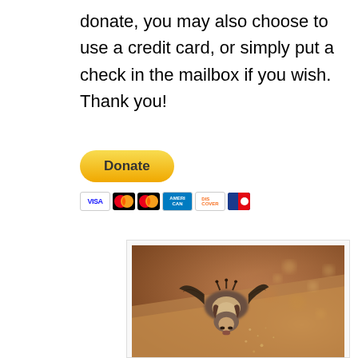donate, you may also choose to use a credit card, or simply put a check in the mailbox if you wish. Thank you!
[Figure (other): PayPal Donate button with payment card icons (VISA, Mastercard, Mastercard, American Express, Discover, UnionPay)]
[Figure (photo): Close-up photograph of a bat hanging upside down on a sandy/rocky surface with a warm brown blurred background]